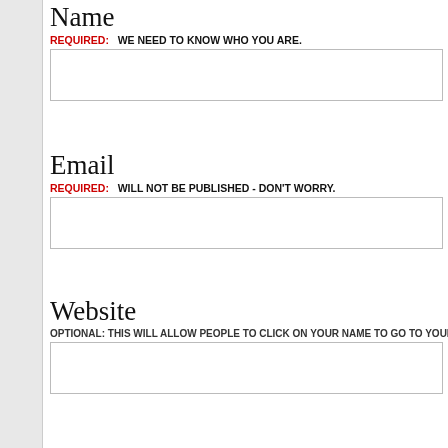Name
REQUIRED:   WE NEED TO KNOW WHO YOU ARE.
[Figure (other): Empty text input field for Name]
Email
REQUIRED:   WILL NOT BE PUBLISHED - DON'T WORRY.
[Figure (other): Empty text input field for Email]
Website
OPTIONAL: THIS WILL ALLOW PEOPLE TO CLICK ON YOUR NAME TO GO TO YOUR SITE
[Figure (other): Empty text input field for Website]
Comment
REQUIRED:   YES - YOU HAVE TO PROVIDE SOMETHING...EXCEPT SPAM.
[Figure (other): Empty large textarea for Comment]